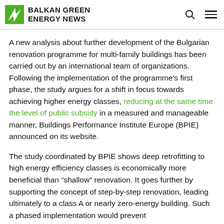BALKAN GREEN ENERGY NEWS
A new analysis about further development of the Bulgarian renovation programme for multi-family buildings has been carried out by an international team of organizations. Following the implementation of the programme's first phase, the study argues for a shift in focus towards achieving higher energy classes, reducing at the same time the level of public subsidy in a measured and manageable manner, Buildings Performance Institute Europe (BPIE) announced on its website.
The study coordinated by BPIE shows deep retrofitting to high energy efficiency classes is economically more beneficial than “shallow” renovation. It goes further by supporting the concept of step-by-step renovation, leading ultimately to a class A or nearly zero-energy building. Such a phased implementation would prevent